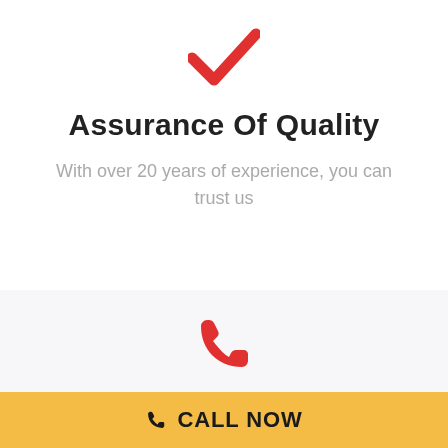[Figure (illustration): Red checkmark icon]
Assurance Of Quality
With over 20 years of experience, you can trust us
[Figure (illustration): Red telephone/phone handset icon]
Emergency Callouts
CALL NOW